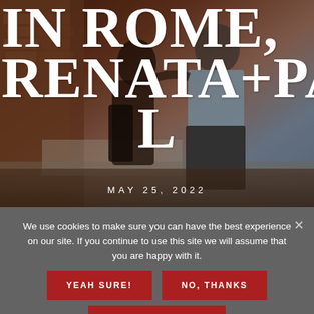[Figure (photo): Couple sitting together outdoors, man in light blue shirt and woman in black dress with tattoos, urban rooftop setting with brick wall background]
IN ROME, RENATA + PAUL
MAY 25, 2022
We use cookies to make sure you can have the best experience on our site. If you continue to use this site we will assume that you are happy with it.
YEAH SURE!
NO, THANKS
READ MORE